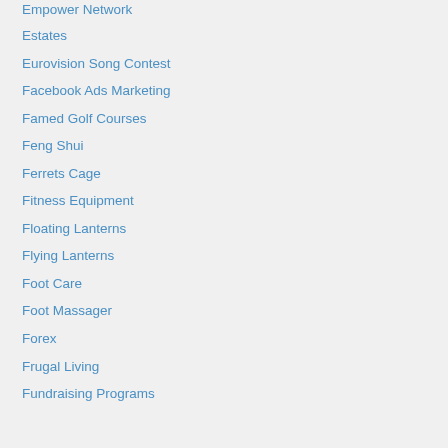Empower Network
Estates
Eurovision Song Contest
Facebook Ads Marketing
Famed Golf Courses
Feng Shui
Ferrets Cage
Fitness Equipment
Floating Lanterns
Flying Lanterns
Foot Care
Foot Massager
Forex
Frugal Living
Fundraising Programs